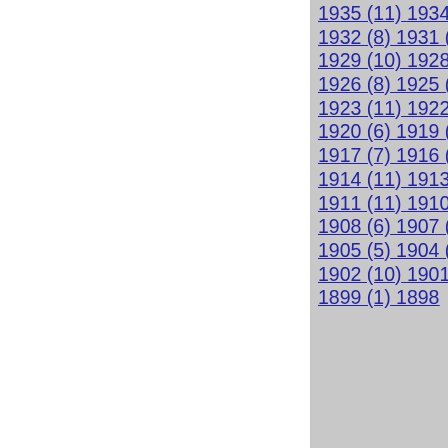1935 (11) 1934 (11) 1933 (15) 1932 (8) 1931 (10) 1930 (8) 1929 (10) 1928 (8) 1927 (9) 1926 (8) 1925 (4) 1924 (5) 1923 (11) 1922 (11) 1921 (2) 1920 (6) 1919 (5) 1918 (10) 1917 (7) 1916 (16) 1915 (4) 1914 (11) 1913 (7) 1912 (12) 1911 (11) 1910 (6) 1909 (5) 1908 (6) 1907 (4) 1906 (9) 1905 (5) 1904 (7) 1903 (3) 1902 (10) 1901 (10) 1900 (4) 1899 (1) 1898